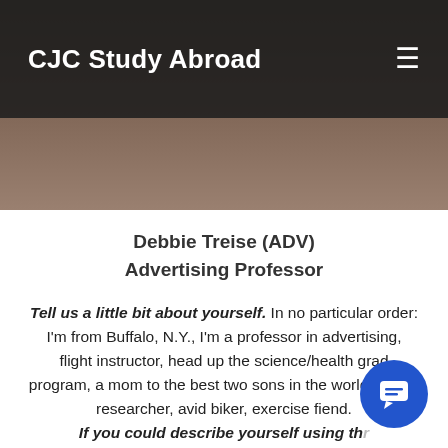CJC Study Abroad
[Figure (photo): Partial photo of a person visible behind a dark navigation bar, showing face/hair area, dark tones.]
Debbie Treise (ADV)
Advertising Professor
Tell us a little bit about yourself. In no particular order: I'm from Buffalo, N.Y., I'm a professor in advertising, flight instructor, head up the science/health grad program, a mom to the best two sons in the world, health researcher, avid biker, exercise fiend.
If you could describe yourself using three adjectives, what would they be? Happy, goal-